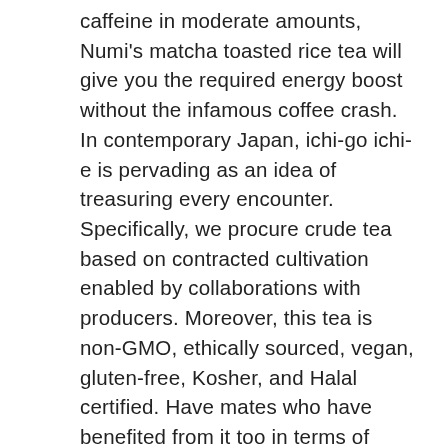caffeine in moderate amounts, Numi's matcha toasted rice tea will give you the required energy boost without the infamous coffee crash. In contemporary Japan, ichi-go ichi-e is pervading as an idea of treasuring every encounter. Specifically, we procure crude tea based on contracted cultivation enabled by collaborations with producers. Moreover, this tea is non-GMO, ethically sourced, vegan, gluten-free, Kosher, and Halal certified. Have mates who have benefited from it too in terms of fighting cancer, anti-aging and controlling blood pressure. Obesity and stress have been my main concern in the past, but the regular intake of green tea has changed my life. Product Name: Numi Organic Matcha Toasted Rice Tea Price Today: Check here Brand:Â Numi Tea Quantity: 18 Count Box of Tea Bags (Pack of 6) Money-Back Guarantee: 100%. Green tea helps regulate blood sugar levels and those who consume green tea regularly are less likely to develop diabetes.